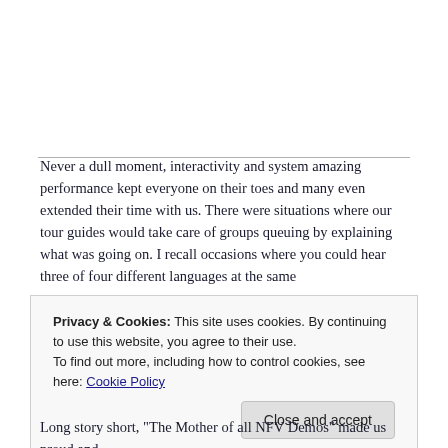Never a dull moment, interactivity and system amazing performance kept everyone on their toes and many even extended their time with us. There were situations where our tour guides would take care of groups queuing by explaining what was going on. I recall occasions where you could hear three of four different languages at the same
Privacy & Cookies: This site uses cookies. By continuing to use this website, you agree to their use.
To find out more, including how to control cookies, see here: Cookie Policy
Close and accept
Long story short, "The Mother of all NFV Demos" made us proud and